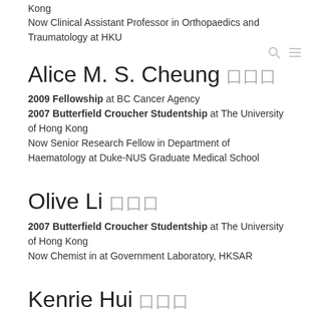Kong
Now Clinical Assistant Professor in Orthopaedics and Traumatology at HKU
Alice M. S. Cheung 张
2009 Fellowship at BC Cancer Agency
2007 Butterfield Croucher Studentship at The University of Hong Kong
Now Senior Research Fellow in Department of Haematology at Duke-NUS Graduate Medical School
Olive Li 李
2007 Butterfield Croucher Studentship at The University of Hong Kong
Now Chemist in at Government Laboratory, HKSAR
Kenrie Hui 许